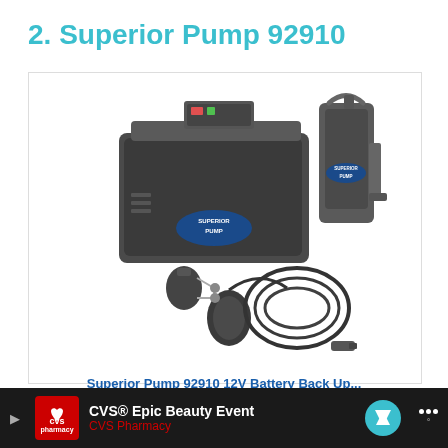2. Superior Pump 92910
[Figure (photo): Product photo of Superior Pump 92910 showing a battery backup box with Superior Pump branding, a submersible pump unit, a float switch, connectors, and a coiled cable.]
Superior Pump 92910 12V Battery Back Up...
[Figure (infographic): Advertisement bar at the bottom: CVS Pharmacy - CVS® Epic Beauty Event, with CVS pharmacy logo, navigation arrow icon, and menu dots icon.]